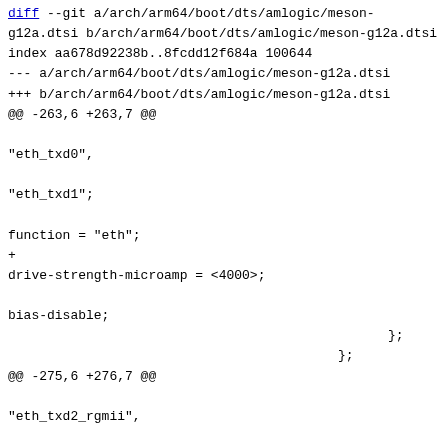diff --git a/arch/arm64/boot/dts/amlogic/meson-g12a.dtsi b/arch/arm64/boot/dts/amlogic/meson-g12a.dtsi
index aa678d92238b..8fcdd12f684a 100644
--- a/arch/arm64/boot/dts/amlogic/meson-g12a.dtsi
+++ b/arch/arm64/boot/dts/amlogic/meson-g12a.dtsi
@@ -263,6 +263,7 @@

"eth_txd0",

"eth_txd1";

function = "eth";
+
drive-strength-microamp = <4000>;

bias-disable;

                                                    };
                                                };
@@ -275,6 +276,7 @@

"eth_txd2_rgmii",

"eth_txd3_rgmii";

function = "eth";
+
drive-strength-microamp = <4000>;

bias-disable;

                                                    };